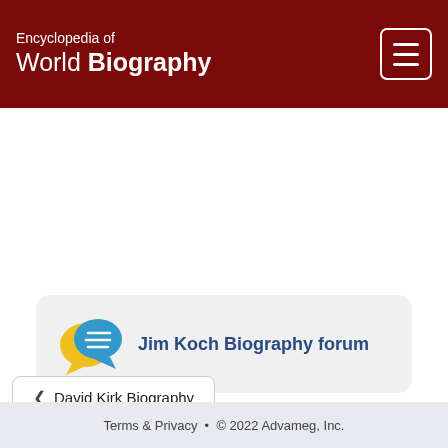Encyclopedia of World Biography
[Figure (illustration): Chat bubble icon with lines, colored yellow and blue, representing a biography forum]
Jim Koch Biography forum
< David Kirk Biography
Terms & Privacy • © 2022 Advameg, Inc.